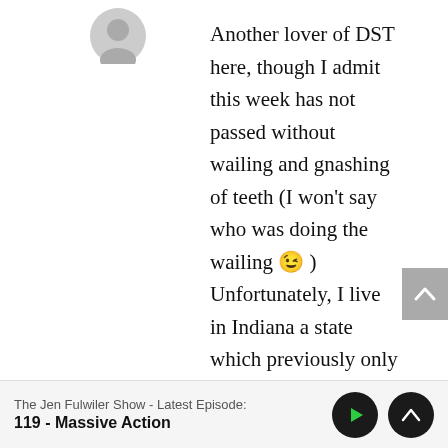[Figure (illustration): Gray silhouette avatar/profile icon]
Another lover of DST here, though I admit this week has not passed without wailing and gnashing of teeth (I won't say who was doing the wailing 😉 ) Unfortunately, I live in Indiana a state which previously only utilized DST in 2 corners and about 5 years ago adopted for the whole state. When they put us on the map, we were put into eastern time and not central. That is really my only beef with it. Love the late days! FYI When I entered the captcha code I
The Jen Fulwiler Show - Latest Episode:
119 - Massive Action